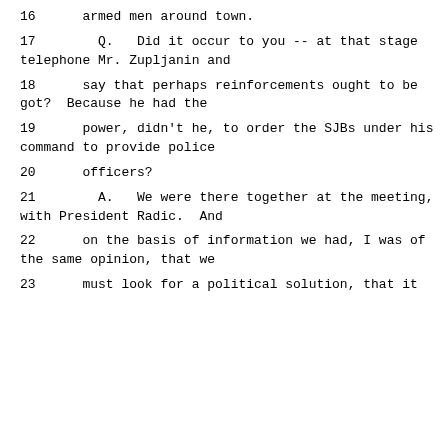16     armed men around town.
17        Q.   Did it occur to you -- at that stage telephone Mr. Zupljanin and
18      say that perhaps reinforcements ought to be got?  Because he had the
19     power, didn't he, to order the SJBs under his command to provide police
20     officers?
21        A.   We were there together at the meeting, with President Radic.  And
22     on the basis of information we had, I was of the same opinion, that we
23     must look for a political solution, that it